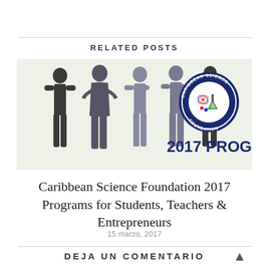RELATED POSTS
[Figure (illustration): Caribbean Science Foundation 2017 Programs banner image showing silhouettes of five standing people on a light green background with the Caribbean Science Foundation circular logo and the text '2017 PROGRAMS FOR' in dark blue.]
Caribbean Science Foundation 2017 Programs for Students, Teachers & Entrepreneurs
15 marzo, 2017
DEJA UN COMENTARIO